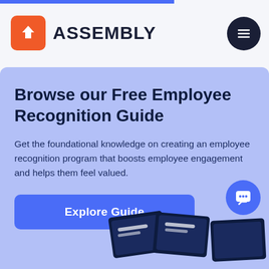[Figure (logo): Assembly logo: orange rounded square icon with white house/person symbol, followed by bold text ASSEMBLY]
[Figure (other): Dark circular hamburger menu button with three horizontal lines]
Browse our Free Employee Recognition Guide
Get the foundational knowledge on creating an employee recognition program that boosts employee engagement and helps them feel valued.
Explore Guide
[Figure (illustration): Dark blue envelope/card illustrations at the bottom of the page]
[Figure (other): Blue circular chat/message button in the bottom right corner]